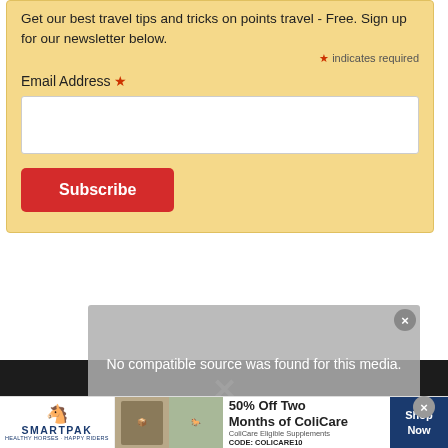Get our best travel tips and tricks on points travel - Free. Sign up for our newsletter below.
* indicates required
Email Address *
Subscribe
[Figure (screenshot): Newsletter signup form with email input field and Subscribe button on yellow background]
No compatible source was found for this media.
[Figure (screenshot): Dark video player area with X mark]
[Figure (infographic): SmartPak advertisement banner: 50% Off Two Months of ColiCare, ColiCare Eligible Supplements CODE: COLICARE10, Shop Now button]